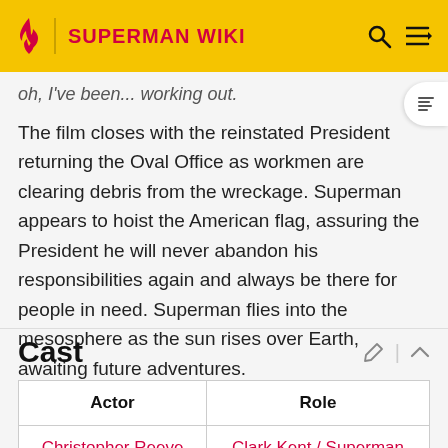SUPERMAN WIKI
oh, I've been... working out.
The film closes with the reinstated President returning the Oval Office as workmen are clearing debris from the wreckage. Superman appears to hoist the American flag, assuring the President he will never abandon his responsibilities again and always be there for people in need. Superman flies into the mesosphere as the sun rises over Earth, awaiting future adventures.
Cast
| Actor | Role |
| --- | --- |
| Christopher Reeve | Clark Kent / Superman |